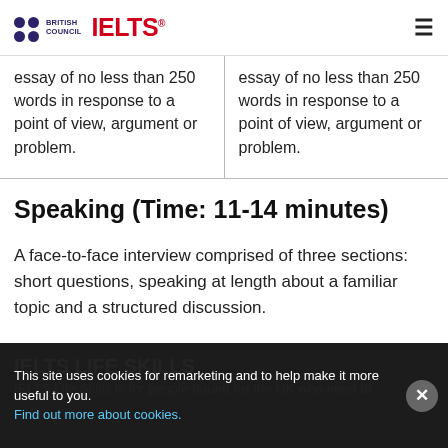British Council IELTS
essay of no less than 250 words in response to a point of view, argument or problem.
essay of no less than 250 words in response to a point of view, argument or problem.
Speaking (Time: 11-14 minutes)
A face-to-face interview comprised of three sections: short questions, speaking at length about a familiar topic and a structured discussion.
IELTS LIFE SKILLS
IELTS Life Skills is for people bound for the UK who need to
This site uses cookies for remarketing and to help make it more useful to you. Find out more about cookies.